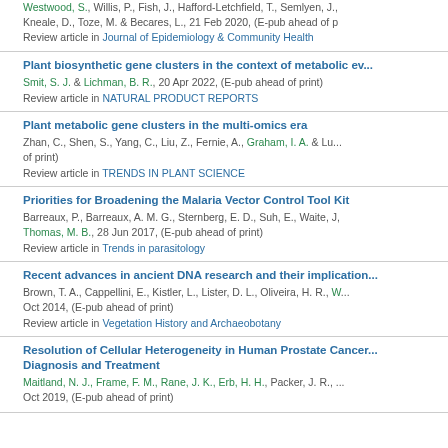Westwood, S., Willis, P., Fish, J., Hafford-Letchfield, T., Semlyen, J., Kneale, D., Toze, M. & Becares, L., 21 Feb 2020, (E-pub ahead of print). Review article in Journal of Epidemiology & Community Health
Plant biosynthetic gene clusters in the context of metabolic ev... Smit, S. J. & Lichman, B. R., 20 Apr 2022, (E-pub ahead of print). Review article in NATURAL PRODUCT REPORTS
Plant metabolic gene clusters in the multi-omics era. Zhan, C., Shen, S., Yang, C., Liu, Z., Fernie, A., Graham, I. A. & Lu... of print). Review article in TRENDS IN PLANT SCIENCE
Priorities for Broadening the Malaria Vector Control Tool Kit. Barreaux, P., Barreaux, A. M. G., Sternberg, E. D., Suh, E., Waite, J., Thomas, M. B., 28 Jun 2017, (E-pub ahead of print). Review article in Trends in parasitology
Recent advances in ancient DNA research and their implication... Brown, T. A., Cappellini, E., Kistler, L., Lister, D. L., Oliveira, H. R., W... Oct 2014, (E-pub ahead of print). Review article in Vegetation History and Archaeobotany
Resolution of Cellular Heterogeneity in Human Prostate Cancer... Diagnosis and Treatment. Maitland, N. J., Frame, F. M., Rane, J. K., Erb, H. H., Packer, J. R., ... Oct 2019, (E-pub ahead of print)